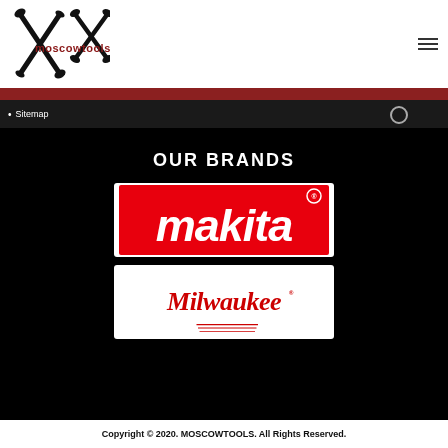[Figure (logo): Moscowtools logo with crossed wrenches/screwdrivers icon and red text 'moscowtools']
Sitemap
OUR BRANDS
[Figure (logo): Makita brand logo - white italic text on red background]
[Figure (logo): Milwaukee brand logo - red italic script text with lightning bolt on white background]
Copyright © 2020. MOSCOWTOOLS. All Rights Reserved.